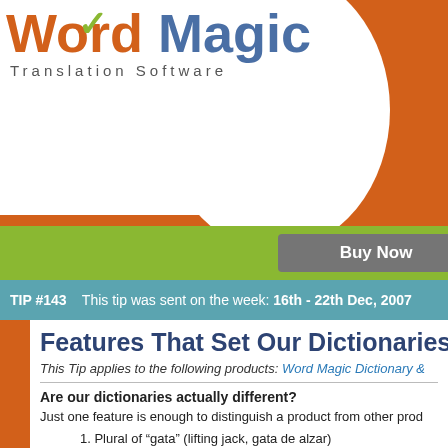[Figure (logo): Word Magic Translation Software logo with orange 'Word' text, blue 'Magic' text, green checkmark, on white background with orange background fill]
[Figure (other): Green bar with grey 'Buy Now' button]
TIP #143   This tip was sent on the week: 16th - 22th Dec, 2007
Features That Set Our Dictionaries Ap
This Tip applies to the following products: Word Magic Dictionary &
Are our dictionaries actually different?
Just one feature is enough to distinguish a product from other prod only has one, but many of them.
Did you know, for example, that you can type conjugated words in t even indicate the type of conjugation they present? For example, yo you:
1. Plural of “gata” (lifting jack, gata de alzar)
2. Plural and femenine of “gato” (cat, felino )
3. Plural and femenine of “gato” (servant, sirviente)